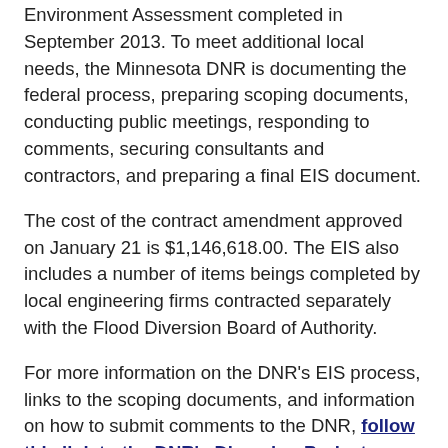Environment Assessment completed in September 2013. To meet additional local needs, the Minnesota DNR is documenting the federal process, preparing scoping documents, conducting public meetings, responding to comments, securing consultants and contractors, and preparing a final EIS document.
The cost of the contract amendment approved on January 21 is $1,146,618.00. The EIS also includes a number of items beings completed by local engineering firms contracted separately with the Flood Diversion Board of Authority.
For more information on the DNR's EIS process, links to the scoping documents, and information on how to submit comments to the DNR, follow this link to the DNR's Diversion Project Scoping Documents web page.
About the Flood Diversion Board of Authority